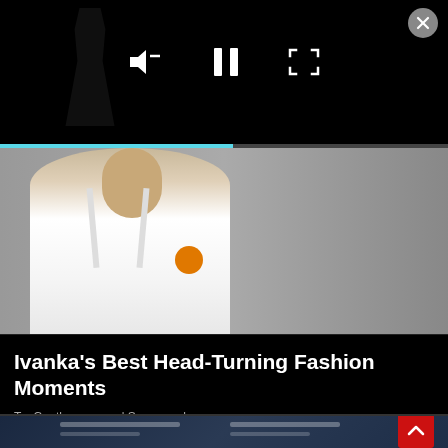[Figure (screenshot): Video player with black background showing a dark silhouette, media controls (mute, pause, fullscreen), close button (X) in top right, and cyan/blue progress bar at bottom]
[Figure (photo): Photo of a woman in a white tank top with an orange accessory, walking outdoors against a grey background — advertisement image]
Ivanka's Best Head-Turning Fashion Moments
TopGentlemen.com | Sponsored
[Figure (photo): Partial second advertisement image showing a stadium or large venue interior with people, overlaid with text/data, and a red scroll-to-top arrow button in the bottom right]